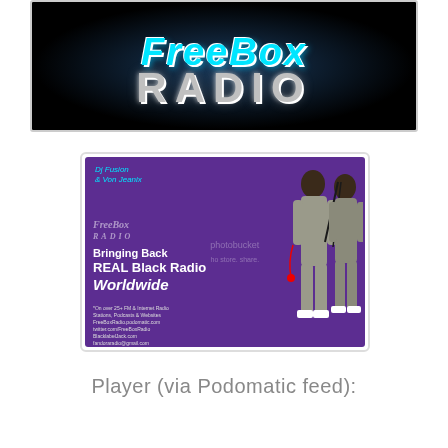[Figure (logo): FreeBox Radio logo on dark background — stylized italic teal text over 'RADIO' in silver/grey block letters, radial spotlight effect]
[Figure (illustration): Promotional illustration on purple background: 'Dj Fusion & Von Jeanix' text, FreeBox Radio logo, 'Bringing Back REAL Black Radio Worldwide' text with small print URLs, two animated Ghostbusters-style characters holding microphones. Photobucket watermark overlay.]
Player (via Podomatic feed):